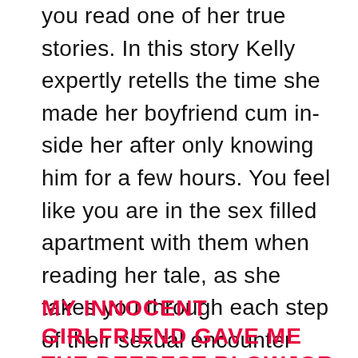you read one of her true stories. In this story Kelly expertly retells the time she made her boyfriend cum inside her after only knowing him for a few hours. You feel like you are in the sex filled apartment with them when reading her tale, as she takes you through each step of their sexual encounter which ultimately ends in him cumming inside of her by total mistake.
MY INNOCENT GIRLFRIEND GAVE ME THE DEEPEST BLOWJOB OF MY